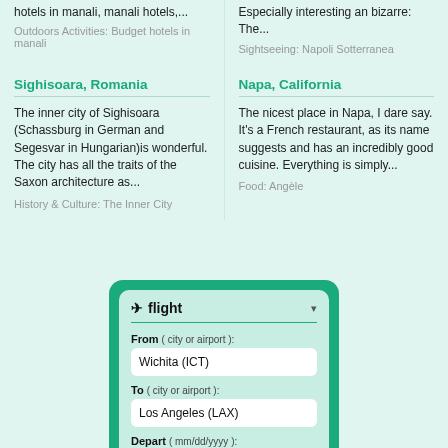hotels in manali, manali hotels,...
Outdoors Activities: Budget hotels in manali
Especially interesting an bizarre: The...
Sightseeing: Napoli Sotterranea
Sighisoara, Romania
Napa, California
The inner city of Sighisoara (Schassburg in German and Segesvar in Hungarian)is wonderful. The city has all the traits of the Saxon architecture as...
History & Culture: The Inner City
The nicest place in Napa, I dare say. It's a French restaurant, as its name suggests and has an incredibly good cuisine. Everything is simply...
Food: Angèle
[Figure (screenshot): Flight booking widget with fields: From (Wichita ICT), To (Los Angeles LAX), Depart (09/08/2022), Return (mm/dd/yyyy). Green themed UI with rounded card design.]